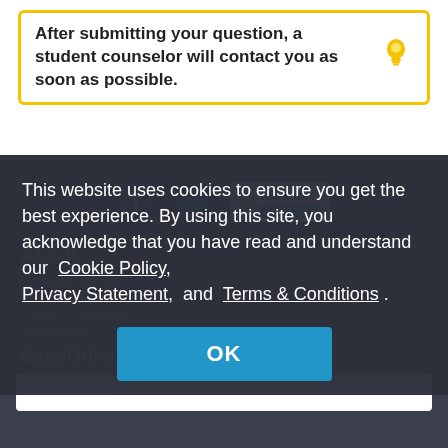After submitting your question, a student counselor will contact you as soon as possible.
[Figure (illustration): Yellow lightbulb icon]
[Figure (logo): Facebook icon, Twitter bird icon, tawk.to partner badge]
About
About EasyUni
This website uses cookies to ensure you get the best experience. By using this site, you acknowledge that you have read and understand our Cookie Policy, Privacy Statement, and Terms & Conditions .
Privacy Statement
Terms & Conditions
Disclaimer
OK
EasyUni around the world
Select a site...